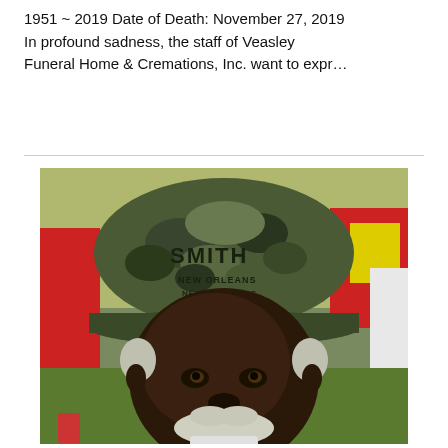1951 ~ 2019 Date of Death: November 27, 2019
In profound sadness, the staff of Veasley
Funeral Home & Cremations, Inc. want to expr…
[Figure (photo): Portrait photo of an elderly man wearing a camouflage cap with 'SMITH' text printed on it. The man has a white beard and mustache. Background shows other people and outdoor setting.]